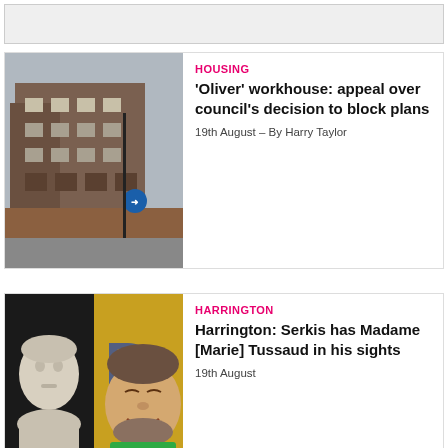[Figure (photo): Top placeholder image strip]
[Figure (photo): Photograph of a brick building, likely a London workhouse, with boarded windows and a blue road sign]
HOUSING
'Oliver' workhouse: appeal over council's decision to block plans
19th August – By Harry Taylor
[Figure (photo): Composite photo: left side shows a white marble bust of Marie Tussaud, right side shows Andy Serkis smiling]
HARRINGTON
Harrington: Serkis has Madame [Marie] Tussaud in his sights
19th August